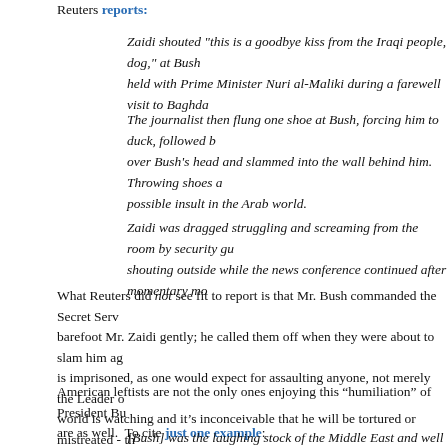Reuters reports.
Zaidi shouted "this is a goodbye kiss from the Iraqi people, dog," at Bush held with Prime Minister Nuri al-Maliki during a farewell visit to Baghda...
The journalist then flung one shoe at Bush, forcing him to duck, followed by over Bush's head and slammed into the wall behind him. Throwing shoes at possible insult in the Arab world.
Zaidi was dragged struggling and screaming from the room by security gu... shouting outside while the news conference continued after momentary mo...
What Reuters did not see fit to report is that Mr. Bush commanded the Secret Ser... barefoot Mr. Zaidi gently; he called them off when they were about to slam him ag... is imprisoned, as one would expect for assaulting anyone, not merely the Leader o... world is watching and it's inconceivable that he will be tortured or mistreated - th... accusations are already flying.
American leftists are not the only ones enjoying this "humiliation" of President Bu... are as well. To cite just one example:
[Bush] was the laughing stock of the Middle East and well beyond I am su...